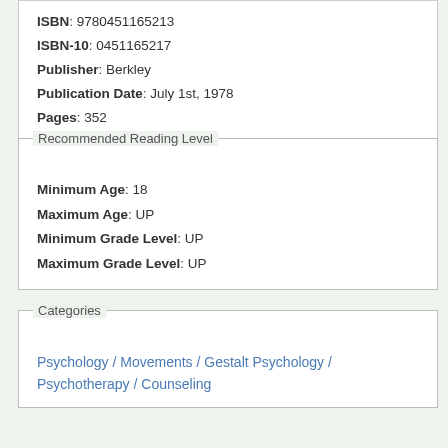ISBN: 9780451165213
ISBN-10: 0451165217
Publisher: Berkley
Publication Date: July 1st, 1978
Pages: 352
Language: English
Series: Signet Books
Recommended Reading Level
Minimum Age: 18
Maximum Age: UP
Minimum Grade Level: UP
Maximum Grade Level: UP
Categories
Psychology / Movements / Gestalt Psychology / Psychotherapy / Counseling